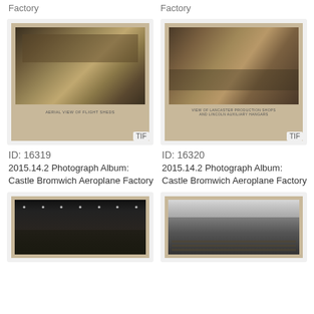Factory
Factory
[Figure (photo): Aerial view of flight sheds at Castle Bromwich Aeroplane Factory, sepia photograph]
TIF
ID: 16319
2015.14.2 Photograph Album: Castle Bromwich Aeroplane Factory
[Figure (photo): View of Lancaster production shops and Lincoln auxiliary hangars at Castle Bromwich Aeroplane Factory, sepia photograph]
TIF
ID: 16320
2015.14.2 Photograph Album: Castle Bromwich Aeroplane Factory
[Figure (photo): Interior factory floor view with overhead lights and aircraft components, black and white photograph]
[Figure (photo): Interior factory floor view with rows of workbenches under skylights, black and white photograph]